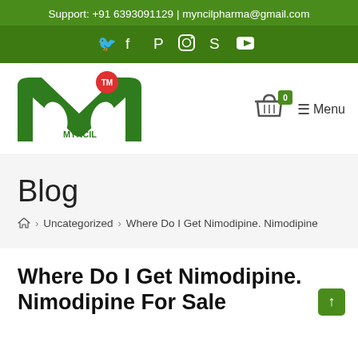Support: +91 6393091129 | myncilpharma@gmail.com
[Figure (logo): Social media icons: Twitter, Facebook, Pinterest, Instagram, Skype, YouTube on green background]
[Figure (logo): Myncil pharmacy logo - green M shape with MYNCIL text and TM badge in red circle]
☰ Menu
Blog
🏠 > Uncategorized > Where Do I Get Nimodipine. Nimodipine
Where Do I Get Nimodipine. Nimodipine For Sale